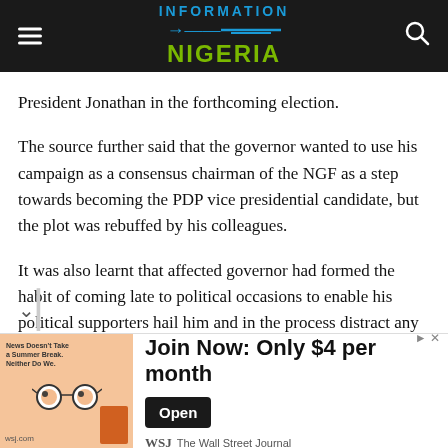Information Nigeria
President Jonathan in the forthcoming election.
The source further said that the governor wanted to use his campaign as a consensus chairman of the NGF as a step towards becoming the PDP vice presidential candidate, but the plot was rebuffed by his colleagues.
It was also learnt that affected governor had formed the habit of coming late to political occasions to enable his political supporters hail him and in the process distract any event when the vice president and other dignitaries were already
[Figure (infographic): Advertisement banner: Wall Street Journal 'Join Now: Only $4 per month' with Open button]